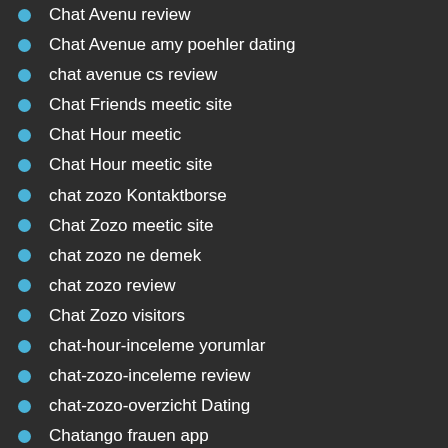Chat Avenu review
Chat Avenue amy poehler dating
chat avenue cs review
Chat Friends meetic site
Chat Hour meetic
Chat Hour meetic site
chat zozo Kontaktborse
Chat Zozo meetic site
chat zozo ne demek
chat zozo review
Chat Zozo visitors
chat-hour-inceleme yorumlar
chat-zozo-inceleme review
chat-zozo-overzicht Dating
Chatango frauen app